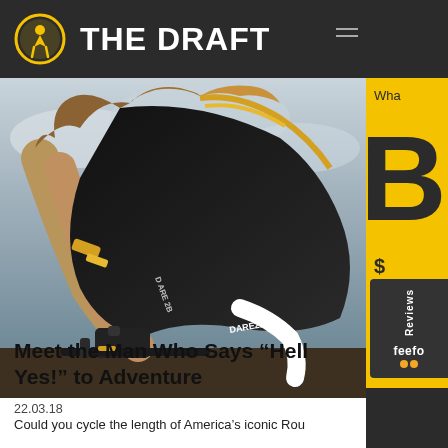THE DRAFT
[Figure (photo): Close-up photo of a cyclist wearing a black Dare2B cycling kit, leaning forward over handlebars. The cyclist has long curly hair and muscular, tanned arms with tape. Dramatic cloudy sky in background.]
22.03.18
Meet the Man Who Says “Hell Yes!” to Adventure
Could you cycle the length of America’s iconic Rou... 66, or complete the British Ad...